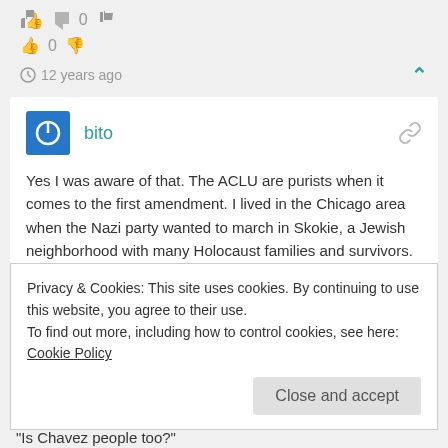👍 0 👎
🕐 12 years ago ∧
bito
Yes I was aware of that. The ACLU are purists when it comes to the first amendment. I lived in the Chicago area when the Nazi party wanted to march in Skokie, a Jewish neighborhood with many Holocaust families and survivors. The ACLU took that case. And they marched. That one I agreed with them. This one I don't! Corporations ain't people!
Privacy & Cookies: This site uses cookies. By continuing to use this website, you agree to their use.
To find out more, including how to control cookies, see here: Cookie Policy
Close and accept
"Is Chavez people too?"